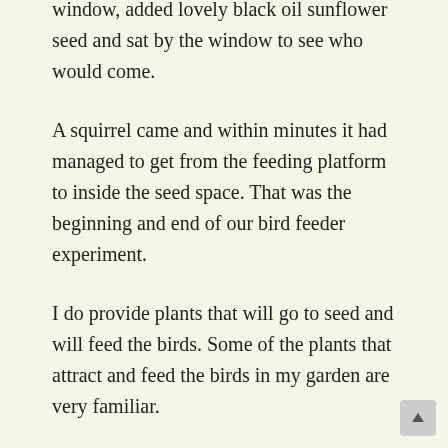window, added lovely black oil sunflower seed and sat by the window to see who would come.
A squirrel came and within minutes it had managed to get from the feeding platform to inside the seed space. That was the beginning and end of our bird feeder experiment.
I do provide plants that will go to seed and will feed the birds. Some of the plants that attract and feed the birds in my garden are very familiar.
The list of seed bearing flowers begins with dandelions in the spring and goes through the summer and fall with cosmos, zinnias, black-eyed susans, asters, coreopsis, blanket flowers, sunflowers, sedums and many others.